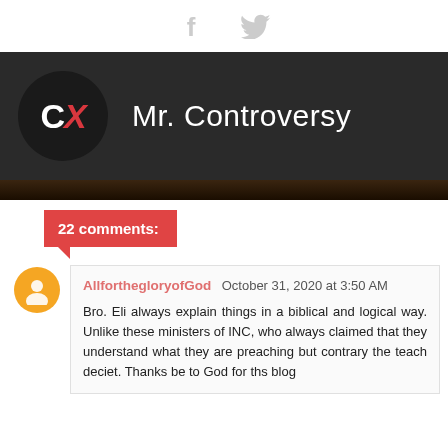[Figure (logo): Social media share icons: Facebook and Twitter in light gray]
[Figure (logo): Mr. Controversy blog header banner with CX logo circle on dark background]
22 comments:
AllforthegloryofGod October 31, 2020 at 3:50 AM
Bro. Eli always explain things in a biblical and logical way. Unlike these ministers of INC, who always claimed that they understand what they are preaching but contrary the teach deciet. Thanks be to God for ths blog